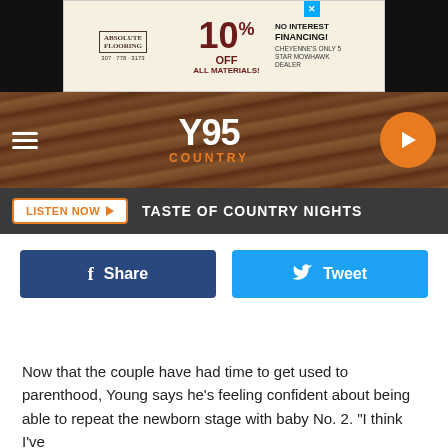[Figure (screenshot): Advertisement for Absolute Flooring: 10% OFF ALL MATERIALS! NO INTEREST FINANCING! CHEYENNE'S ONLY 5 STAR MOWHAWK DEALER. Phone: 307-778-3173]
[Figure (logo): Y95 COUNTRY radio station logo with navigation bar, hamburger menu, and orange play button]
LISTEN NOW  TASTE OF COUNTRY NIGHTS
[Figure (screenshot): Facebook Share button (dark blue) and Twitter Tweet button (light blue)]
Now that the couple have had time to get used to parenthood, Young says he's feeling confident about being able to repeat the newborn stage with baby No. 2. "I think I've